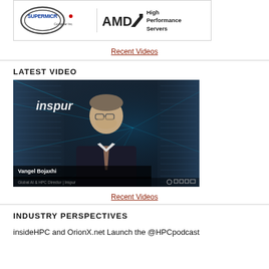[Figure (logo): Supermicro and AMD High Performance Servers advertisement banner]
Recent Videos
LATEST VIDEO
[Figure (screenshot): Video thumbnail showing Vangel Bojaxhi, Global AI & HPC Director at Inspur, with inspur branding and server room background]
Recent Videos
INDUSTRY PERSPECTIVES
insideHPC and OrionX.net Launch the @HPCpodcast